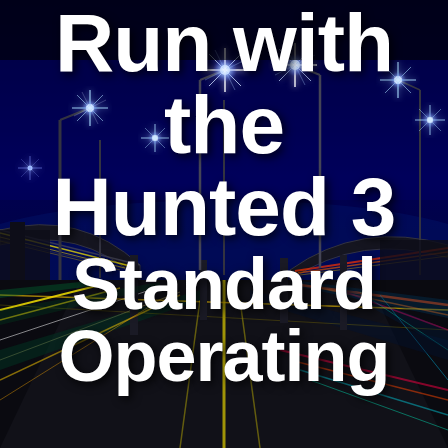[Figure (photo): Night cityscape photo showing a highway interchange with colorful light trails from vehicles, bright star-burst street lights against a deep blue/dark sky, overpass ramps and road markings visible.]
Run with the Hunted 3 Standard Operating